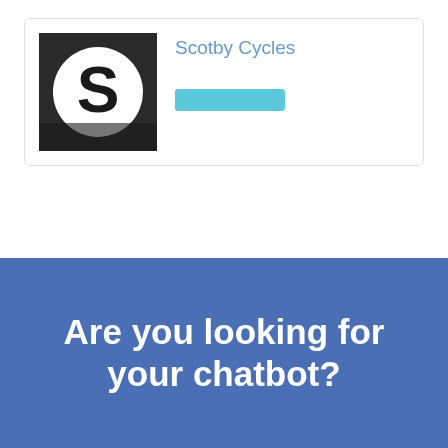[Figure (logo): Scotby Cycles logo: black and white photo background with a large white circle containing a bold black letter S]
Scotby Cycles
[cyan button bar placeholder]
Are you looking for your chatbot?